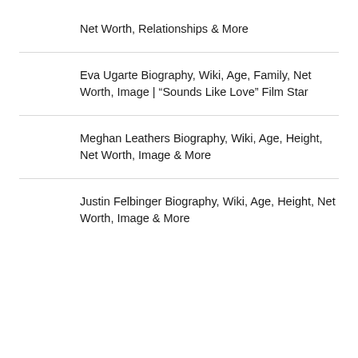Net Worth, Relationships & More
Eva Ugarte Biography, Wiki, Age, Family, Net Worth, Image | “Sounds Like Love” Film Star
Meghan Leathers Biography, Wiki, Age, Height, Net Worth, Image & More
Justin Felbinger Biography, Wiki, Age, Height, Net Worth, Image & More